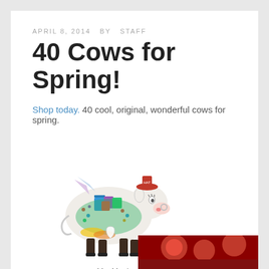APRIL 8, 2014  BY  STAFF
40 Cows for Spring!
Shop today. 40 cool, original, wonderful cows for spring.
[Figure (photo): A colorful decorated ceramic cow figurine adorned with jewels, shopping bags, and wings — Ms. Moolevard on the Boulevard]
Ms. Moolevard on the Boulevard
[Figure (photo): Partial view of another decorated cow figurine, partially cropped at bottom right]